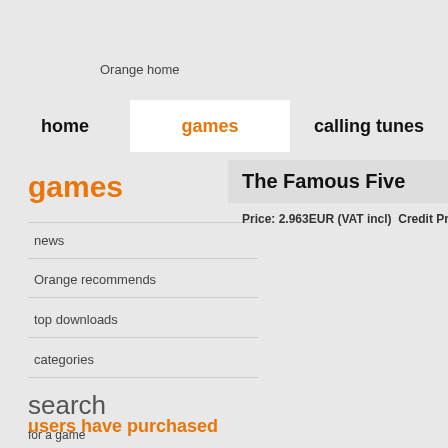Orange home
home | games | calling tunes
games
news
Orange recommends
top downloads
categories
The Famous Five
Price: 2.963EUR (VAT incl)  Credit Pr
search
for a game
users have purchased